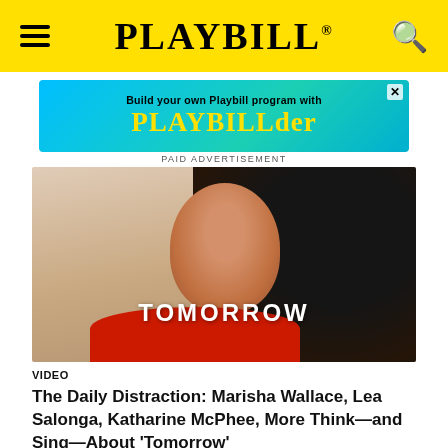PLAYBILL
[Figure (illustration): Playbill advertisement banner: 'Build your own Playbill program with PLAYBILLder' on blue/teal background with yellow text]
PAID ADVERTISEMENT
[Figure (photo): A woman with long curly dark hair wearing a red top, looking upward, with the word TOMORROW overlaid in white text]
VIDEO
The Daily Distraction: Marisha Wallace, Lea Salonga, Katharine McPhee, More Think—and Sing—About 'Tomorrow'